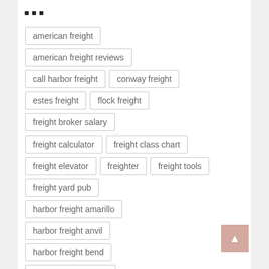▪▪▪
american freight
american freight reviews
call harbor freight
conway freight
estes freight
flock freight
freight broker salary
freight calculator
freight class chart
freight elevator
freighter
freight tools
freight yard pub
harbor freight amarillo
harbor freight anvil
harbor freight bend
harbor freight blaine
harbor freight canopy